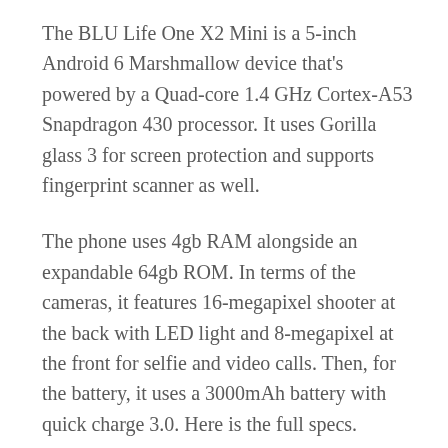The BLU Life One X2 Mini is a 5-inch Android 6 Marshmallow device that's powered by a Quad-core 1.4 GHz Cortex-A53 Snapdragon 430 processor. It uses Gorilla glass 3 for screen protection and supports fingerprint scanner as well.
The phone uses 4gb RAM alongside an expandable 64gb ROM. In terms of the cameras, it features 16-megapixel shooter at the back with LED light and 8-megapixel at the front for selfie and video calls. Then, for the battery, it uses a 3000mAh battery with quick charge 3.0. Here is the full specs.
BLU LIFE ONE X2 MINI SPECIFICATIONS